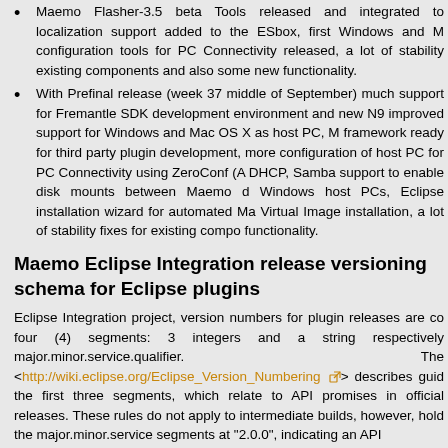Maemo Flasher-3.5 beta Tools released and integrated to localization support added to the ESbox, first Windows and M configuration tools for PC Connectivity released, a lot of stability existing components and also some new functionality.
With Prefinal release (week 37 middle of September) much support for Fremantle SDK development environment and new N9 improved support for Windows and Mac OS X as host PC, M framework ready for third party plugin development, more configuration of host PC for PC Connectivity using ZeroConf (A DHCP, Samba support to enable disk mounts between Maemo d Windows host PCs, Eclipse installation wizard for automated Ma Virtual Image installation, a lot of stability fixes for existing compo functionality.
Maemo Eclipse Integration release versioning schema for Eclipse plugins
Eclipse Integration project, version numbers for plugin releases are co four (4) segments: 3 integers and a string respectively major.minor.service.qualifier. The <http://wiki.eclipse.org/Eclipse_Version_Numbering> describes guid the first three segments, which relate to API promises in official releases. These rules do not apply to intermediate builds, however, hold the major.minor.service segments at "2.0.0", indicating an API